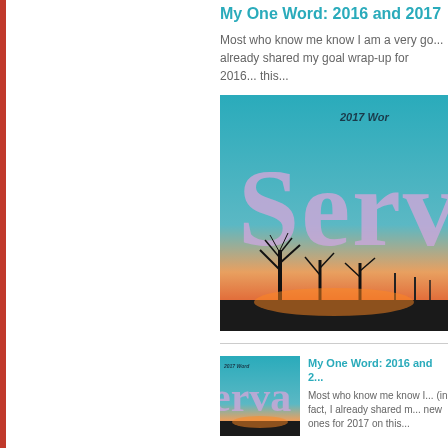My One Word: 2016 and 2017
Most who know me know I am a very go... already shared my goal wrap-up for 2016... this...
[Figure (photo): Sunset sky with the word 'Serv...' written in purple cloud-like letters against a teal/orange gradient sky, with bare tree silhouettes at the bottom. Text in upper right reads '2017 Wor...']
My One Word: 2016 and 2...
[Figure (photo): Thumbnail version of the sunset sky photo with '2017 Word' text and 'erva...' partial word visible]
Most who know me know I... (in fact, I already shared m... new ones for 2017 on this...